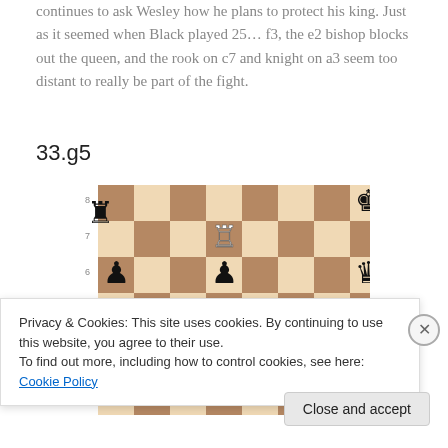continues to ask Wesley how he plans to protect his king. Just as it seemed when Black played 25… f3, the e2 bishop blocks out the queen, and the rook on c7 and knight on a3 seem too distant to really be part of the fight.
33.g5
[Figure (other): Chess board diagram showing position after 33.g5. Black rook on a8, Black king on h8, White rook on d7, Black pawns on a6 and d6, Black queen on h6.]
Privacy & Cookies: This site uses cookies. By continuing to use this website, you agree to their use.
To find out more, including how to control cookies, see here: Cookie Policy